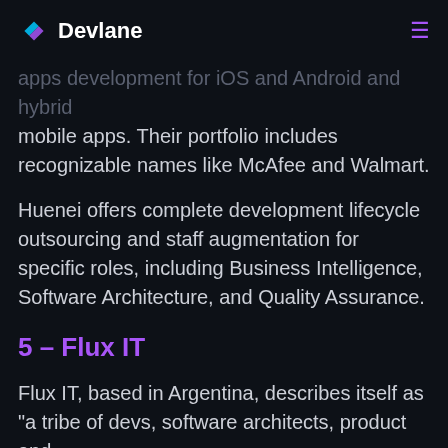Devlane
apps development for iOS and Android and hybrid mobile apps. Their portfolio includes recognizable names like McAfee and Walmart.
Huenei offers complete development lifecycle outsourcing and staff augmentation for specific roles, including Business Intelligence, Software Architecture, and Quality Assurance.
5 – Flux IT
Flux IT, based in Argentina, describes itself as "a tribe of devs, software architects, product and